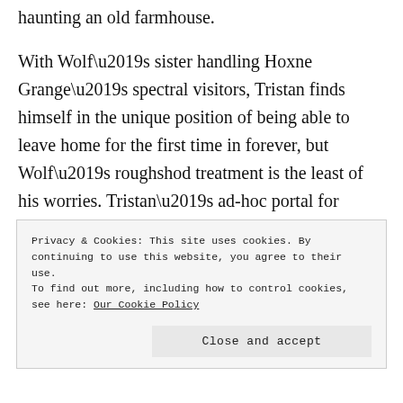haunting an old farmhouse.
With Wolf’s sister handling Hoxne Grange’s spectral visitors, Tristan finds himself in the unique position of being able to leave home for the first time in forever, but Wolf’s roughshod treatment is the least of his worries. Tristan’s ad-hoc portal for passing spirits seems to be getting fewer and fewer guests, and despite his concern he’s broken his home, Tristan agrees to help
Privacy & Cookies: This site uses cookies. By continuing to use this website, you agree to their use.
To find out more, including how to control cookies, see here: Our Cookie Policy
Close and accept